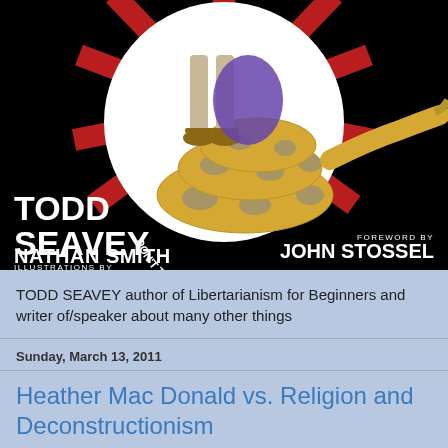[Figure (illustration): Book cover for 'Libertarianism for Beginners' by Todd Seavey. Black background with a circular illustration of a coiled yellow snake with gray markings and text 'DON'T TREAD ON ME!' at the bottom of the circle, with sandaled feet standing above the snake. Red rays in the background behind the circle.]
TODD SEAVEY author of Libertarianism for Beginners and writer of/speaker about many other things
Sunday, March 13, 2011
Heather Mac Donald vs. Religion and Deconstructionism